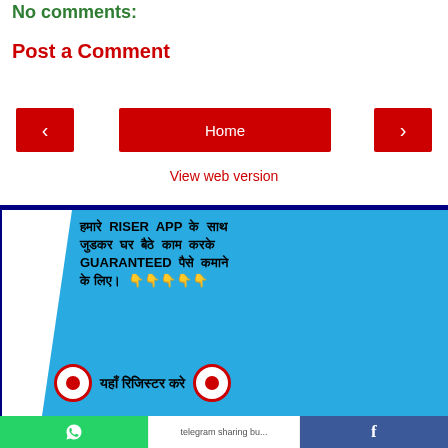No comments:
Post a Comment
< Home >
View web version
[Figure (infographic): Advertisement for RISER APP in Hindi and English. Blue background with text: हमारे RISER APP के साथ जुडकर घर बैठे काम करके GUARANTEED पैसे कमाने के लिए। 👇👇👇👇👇 यहाँ रिजिस्टर करे]
WhatsApp | telegram sharing bu... | Facebook